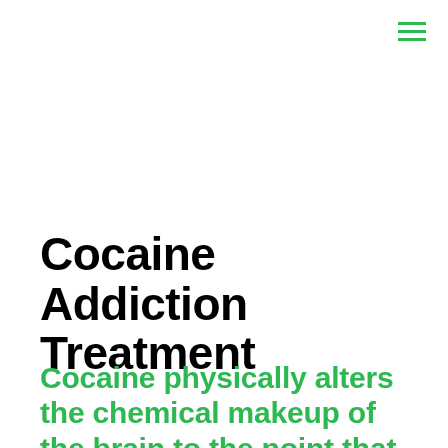[Figure (other): Hamburger menu icon with three green horizontal lines in the top-right corner]
Cocaine Addiction Treatment
Cocaine physically alters the chemical makeup of the brain to the point that those who use it regularly will eventually